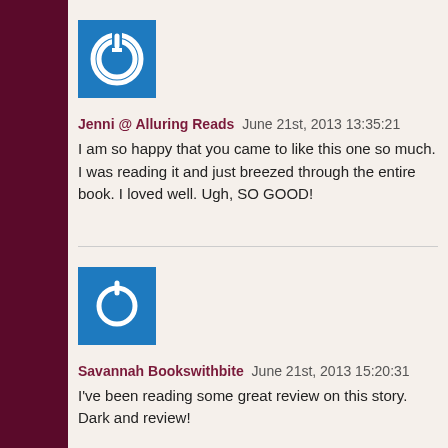[Figure (illustration): Blue square avatar icon with white power button symbol]
Jenni @ Alluring Reads June 21st, 2013 13:35:21
I am so happy that you came to like this one so much. I was reading it and just breezed through the entire book. I loved well. Ugh, SO GOOD!
[Figure (illustration): Blue square avatar icon with white power button symbol]
Savannah Bookswithbite June 21st, 2013 15:20:31
I've been reading some great review on this story. Dark and review!